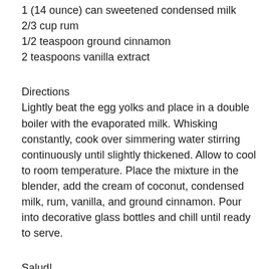1 (14 ounce) can sweetened condensed milk
2/3 cup rum
1/2 teaspoon ground cinnamon
2 teaspoons vanilla extract
Directions
Lightly beat the egg yolks and place in a double boiler with the evaporated milk. Whisking constantly, cook over simmering water stirring continuously until slightly thickened. Allow to cool to room temperature. Place the mixture in the blender, add the cream of coconut, condensed milk, rum, vanilla, and ground cinnamon. Pour into decorative glass bottles and chill until ready to serve.
Salud!
Until next time,